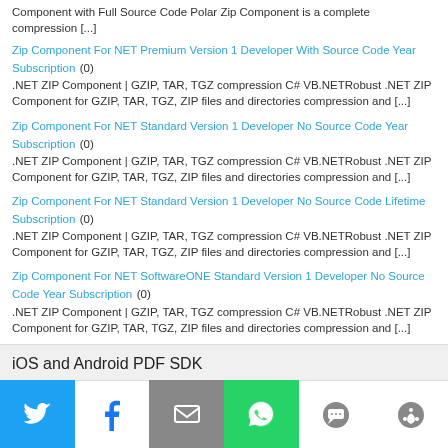Component with Full Source Code Polar Zip Component is a complete compression [...]
Zip Component For NET Premium Version 1 Developer With Source Code Year Subscription (0)
.NET ZIP Component | GZIP, TAR, TGZ compression C# VB.NETRobust .NET ZIP Component for GZIP, TAR, TGZ, ZIP files and directories compression and [...]
Zip Component For NET Standard Version 1 Developer No Source Code Year Subscription (0)
.NET ZIP Component | GZIP, TAR, TGZ compression C# VB.NETRobust .NET ZIP Component for GZIP, TAR, TGZ, ZIP files and directories compression and [...]
Zip Component For NET Standard Version 1 Developer No Source Code Lifetime Subscription (0)
.NET ZIP Component | GZIP, TAR, TGZ compression C# VB.NETRobust .NET ZIP Component for GZIP, TAR, TGZ, ZIP files and directories compression and [...]
Zip Component For NET SoftwareONE Standard Version 1 Developer No Source Code Year Subscription (0)
.NET ZIP Component | GZIP, TAR, TGZ compression C# VB.NETRobust .NET ZIP Component for GZIP, TAR, TGZ, ZIP files and directories compression and [...]
iOS and Android PDF SDK
[Figure (other): iOS and Android icons (Apple and Android logos) partially visible alongside a partial red circular logo]
[Figure (infographic): Social share bar with Twitter, Facebook, Email, WhatsApp, SMS, and More buttons]